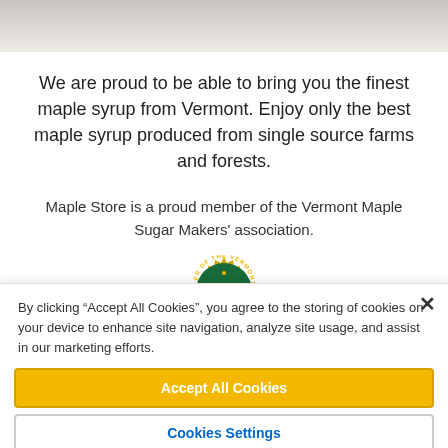[Figure (photo): Partial photo strip at top of page, appears to show a white ceramic or maple syrup container, cropped.]
We are proud to be able to bring you the finest maple syrup from Vermont. Enjoy only the best maple syrup produced from single source farms and forests.
Maple Store is a proud member of the Vermont Maple Sugar Makers' association.
[Figure (logo): Partial view of Vermont Maple Sugar Makers association circular badge/seal in gold and green, cropped at bottom.]
By clicking “Accept All Cookies”, you agree to the storing of cookies on your device to enhance site navigation, analyze site usage, and assist in our marketing efforts.
Accept All Cookies
Cookies Settings